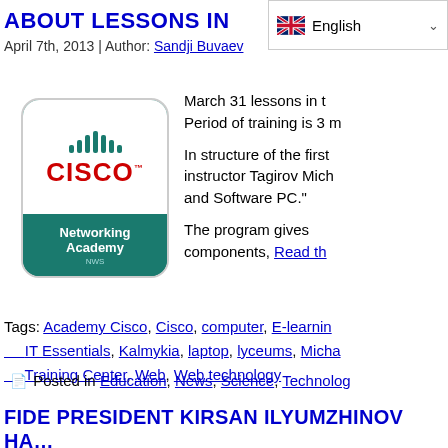ABOUT LESSONS IN … NTE
April 7th, 2013 | Author: Sandji Buvaev
[Figure (logo): Cisco Networking Academy logo — teal rounded rectangle with white top section showing signal bars and CISCO wordmark in red, and teal bottom section with 'Networking Academy NWS' text in white]
March 31 lessons in t… Period of training is 3 m…
In structure of the first… instructor Tagirov Mich… and Software PC."
The program gives … components, Read th…
Tags: Academy Cisco, Cisco, computer, E-learnin…, IT Essentials, Kalmykia, laptop, lyceums, Micha…, Training Center, Web, Web technology
Posted in Education, News, Science, Technolog…
FIDE PRESIDENT KIRSAN ILYUMZHINOV HA… SERVICE TWITTER